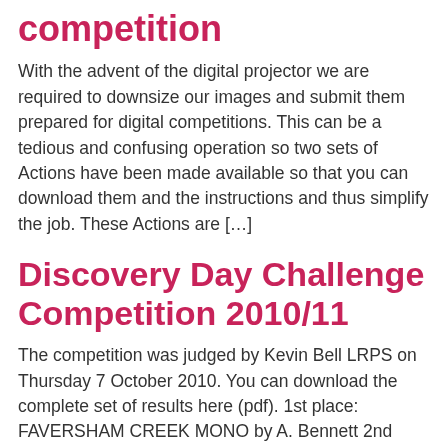competition
With the advent of the digital projector we are required to downsize our images and submit them prepared for digital competitions. This can be a tedious and confusing operation so two sets of Actions have been made available so that you can download them and the instructions and thus simplify the job. These Actions are […]
Discovery Day Challenge Competition 2010/11
The competition was judged by Kevin Bell LRPS on Thursday 7 October 2010. You can download the complete set of results here (pdf). 1st place: FAVERSHAM CREEK MONO by A. Bennett 2nd place: OLD FAVERSHAM CREEK by A. Bennett 3rd place: CANOOING THE CREEK by A. Bennett Note: Copyright in all photographs belongs to the